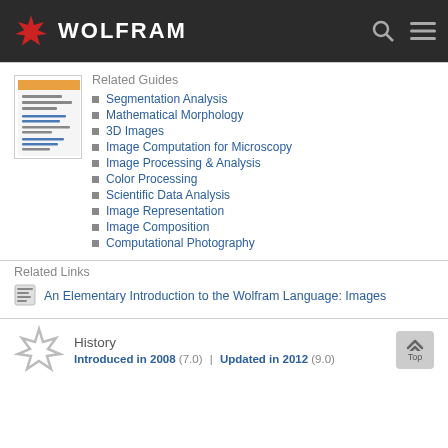WOLFRAM
Related Guides
Segmentation Analysis
Mathematical Morphology
3D Images
Image Computation for Microscopy
Image Processing & Analysis
Color Processing
Scientific Data Analysis
Image Representation
Image Composition
Computational Photography
Related Links
An Elementary Introduction to the Wolfram Language: Images
History
Introduced in 2008 (7.0) | Updated in 2012 (9.0)